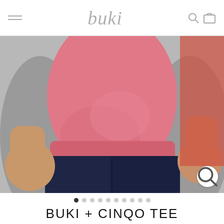buki
[Figure (photo): Man wearing a pink/salmon crew-neck t-shirt with dark navy pants, cropped at torso level, on a grey background.]
BUKI + CINQO TEE